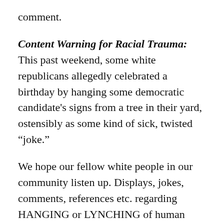comment.
Content Warning for Racial Trauma: This past weekend, some white republicans allegedly celebrated a birthday by hanging some democratic candidate's signs from a tree in their yard, ostensibly as some kind of sick, twisted “joke.”
We hope our fellow white people in our community listen up. Displays, jokes, comments, references etc. regarding HANGING or LYNCHING of human beings are NEVER OK.
Such behavior triggers historical racial trauma and creates new racial trauma, here and now, which harms our Black community members. It demonstrates profound ignorance and/or indifference to the pain of those who live in this community and have had ancestors hanged by